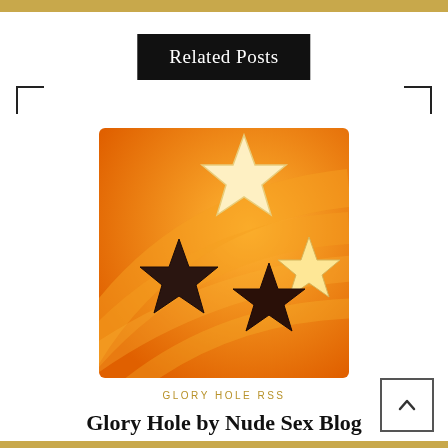Related Posts
[Figure (illustration): Orange background with concentric wave patterns and four stars: one large cream/white star at top center, one medium cream star at right, and two dark brown/maroon stars at lower left and lower center-right.]
GLORY HOLE RSS
Glory Hole by Nude Sex Blog